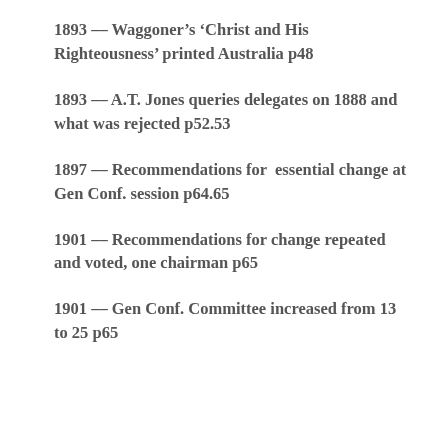1893  --  Waggoner's 'Christ and His Righteousness' printed Australia p48
1893 -- A.T. Jones queries delegates on 1888 and what was rejected p52.53
1897 -- Recommendations for  essential change at Gen Conf. session p64.65
1901 -- Recommendations for change repeated and voted, one chairman p65
1901 -- Gen Conf. Committee increased from 13 to 25 p65